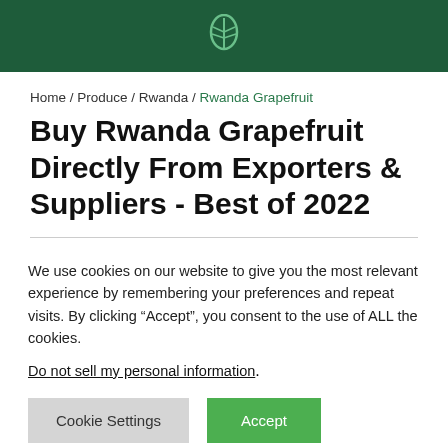[leaf logo icon]
Home / Produce / Rwanda / Rwanda Grapefruit
Buy Rwanda Grapefruit Directly From Exporters & Suppliers - Best of 2022
We use cookies on our website to give you the most relevant experience by remembering your preferences and repeat visits. By clicking “Accept”, you consent to the use of ALL the cookies.
Do not sell my personal information.
Cookie Settings   Accept